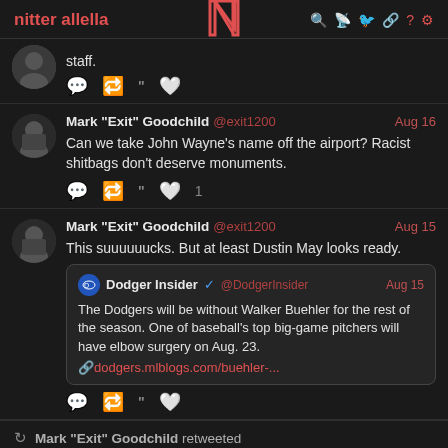nitter allella
staff.
Mark "Exit" Goodchild @exit1200 Aug 16 — Can we take John Wayne's name off the airport? Racist shitbags don't deserve monuments. ♥ 1
Mark "Exit" Goodchild @exit1200 Aug 15 — This suuuuuucks. But at least Dustin May looks ready. Quoted: Dodger Insider @DodgerInsider Aug 15 — The Dodgers will be without Walker Buehler for the rest of the season. One of baseball's top big-game pitchers will have elbow surgery on Aug. 23. dodgers.mlblogs.com/buehler-...
↻ Mark "Exit" Goodchild retweeted